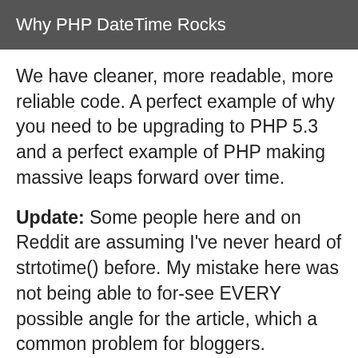Why PHP DateTime Rocks
We have cleaner, more readable, more reliable code. A perfect example of why you need to be upgrading to PHP 5.3 and a perfect example of PHP making massive leaps forward over time.
Update: Some people here and on Reddit are assuming I've never heard of strtotime() before. My mistake here was not being able to for-see EVERY possible angle for the article, which a common problem for bloggers.
So, why not use strtotime()? Firstly, using date('Y-m-d H:i:s', strtotime($strDate)) is the same as doing $date = new DateTime($strDate)-